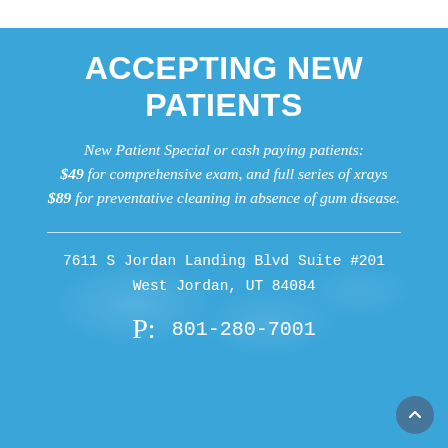ACCEPTING NEW PATIENTS
New Patient Special or cash paying patients: $49 for comprehensive exam, and full series of xrays $89 for preventative cleaning in absence of gum disease.
7611 S Jordan Landing Blvd Suite #201 West Jordan, UT 84084
P: 801-280-7001